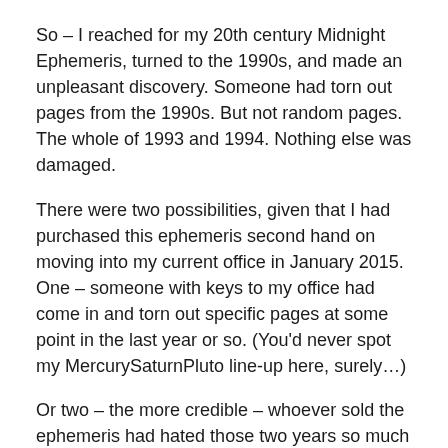So – I reached for my 20th century Midnight Ephemeris, turned to the 1990s, and made an unpleasant discovery. Someone had torn out pages from the 1990s. But not random pages. The whole of 1993 and 1994. Nothing else was damaged.
There were two possibilities, given that I had purchased this ephemeris second hand on moving into my current office in January 2015. One – someone with keys to my office had come in and torn out specific pages at some point in the last year or so. (You'd never spot my MercurySaturnPluto line-up here, surely…)
Or two – the more credible – whoever sold the ephemeris had hated those two years so much that he/she had taken their revenge via this act of Mercurial vandalism. It was odd, however, that I had not noticed the damage earlier…